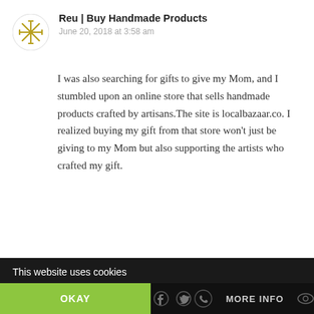[Figure (logo): Circular avatar/logo with a gold snowflake or asterisk-like pattern on white background]
Reu | Buy Handmade Products
June 20, 2018 at 3:58 am
I was also searching for gifts to give my Mom, and I stumbled upon an online store that sells handmade products crafted by artisans.The site is localbazaar.co. I realized buying my gift from that store won’t just be giving to my Mom but also supporting the artists who crafted my gift.
★ Loading...
Reply
This website uses cookies
OKAY
MORE INFO